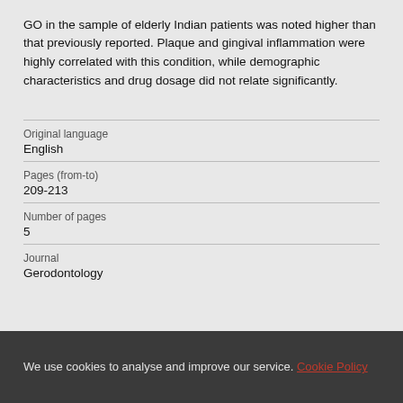GO in the sample of elderly Indian patients was noted higher than that previously reported. Plaque and gingival inflammation were highly correlated with this condition, while demographic characteristics and drug dosage did not relate significantly.
| Original language | English |
| Pages (from-to) | 209-213 |
| Number of pages | 5 |
| Journal | Gerodontology |
We use cookies to analyse and improve our service. Cookie Policy